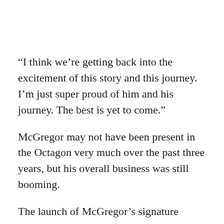“I think we’re getting back into the excitement of this story and this journey. I’m just super proud of him and his journey. The best is yet to come.”
McGregor may not have been present in the Octagon very much over the past three years, but his overall business was still booming.
The launch of McGregor’s signature whiskey — Proper No. 12 — generated massive worldwide sales. He’s recently started his own clothing brand called “August McGregor” alongside famed fashion designer David August.